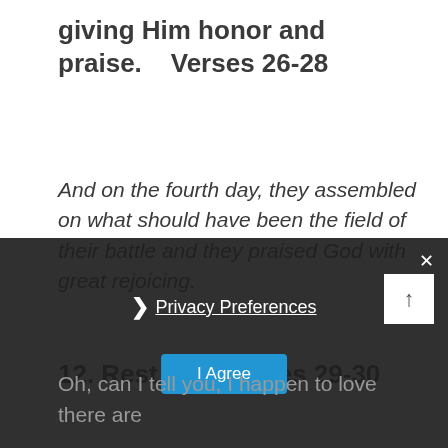giving Him honor and praise.   Verses 26-28
And on the fourth day, they assembled on what should have been the field of their battle and they praised God with great rejoicing.
12. Rest.        Verses 29-30
And then they rested because the kingdom of Jehoshaphat was at peace. It says God gave him rest
Oh, can I tell you, I happen to love there are